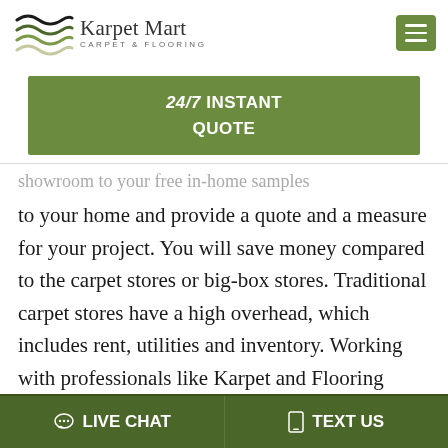[Figure (logo): Karpet Mart Carpet & Flooring logo with wave graphic on left and brand name text on right]
[Figure (other): Green hamburger menu button in top right corner]
24/7 INSTANT QUOTE
showroom to your free in-home samples to your home and provide a quote and a measure for your project. You will save money compared to the carpet stores or big-box stores. Traditional carpet stores have a high overhead, which includes rent, utilities and inventory. Working with professionals like Karpet and Flooring
LIVE CHAT
TEXT US